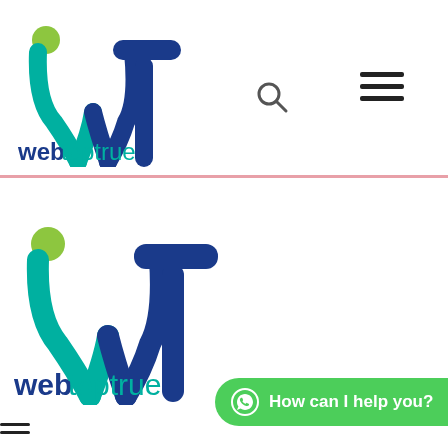[Figure (logo): WebTopTrue logo top — stylized WT letters in teal/navy with green dot, text 'webtoptrue' below in navy/teal]
[Figure (logo): WebTopTrue logo bottom — larger version of same logo]
[Figure (infographic): Green rounded button with WhatsApp icon and text 'How can I help you?']